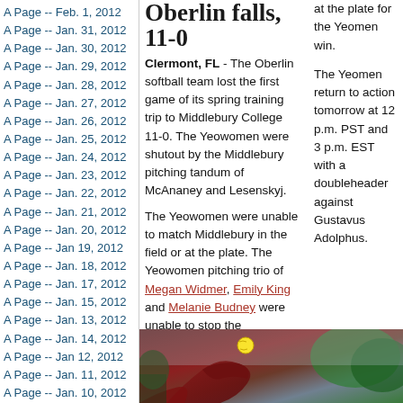A Page -- Feb. 1, 2012
A Page -- Jan. 31, 2012
A Page -- Jan. 30, 2012
A Page -- Jan. 29, 2012
A Page -- Jan. 28, 2012
A Page -- Jan. 27, 2012
A Page -- Jan. 26, 2012
A Page -- Jan. 25, 2012
A Page -- Jan. 24, 2012
A Page -- Jan. 23, 2012
A Page -- Jan. 22, 2012
A Page -- Jan. 21, 2012
A Page -- Jan. 20, 2012
A Page -- Jan 19, 2012
A Page -- Jan. 18, 2012
A Page -- Jan. 17, 2012
A Page -- Jan. 15, 2012
A Page -- Jan. 13, 2012
A Page -- Jan. 14, 2012
A Page -- Jan 12, 2012
A Page -- Jan. 11, 2012
A Page -- Jan. 10, 2012
A Page -- Jan. 8, 2012
Oberlin falls, 11-0
Clermont, FL - The Oberlin softball team lost the first game of its spring training trip to Middlebury College 11-0. The Yeowomen were shutout by the Middlebury pitching tandum of McAnaney and Lesenskyj.

The Yeowomen were unable to match Middlebury in the field or at the plate. The Yeowomen pitching trio of Megan Widmer, Emily King and Melanie Budney were unable to stop the Middlebury hitters.
at the plate for the Yeomen win.

The Yeomen return to action tomorrow at 12 p.m. PST and 3 p.m. EST with a doubleheader against Gustavus Adolphus.
[Figure (photo): Softball player pitching, wearing red/maroon glove, with yellow softball visible in mid-air, outdoor setting with trees in background]